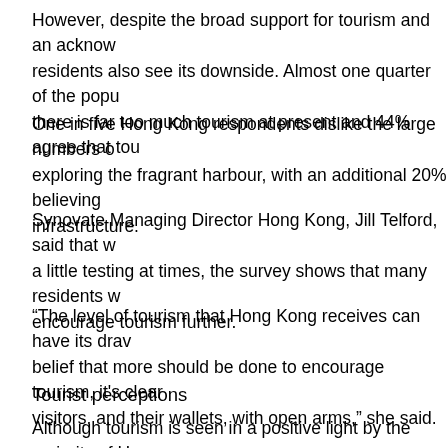However, despite the broad support for tourism and an acknowledge residents also see its downside. Almost one quarter of the population there is far too much tourism at present and 44% agree that tourism...
One in five Hong Kong respondents dislike the large numbers of tourists exploring the fragrant harbour, with an additional 20% believing infrastructure.
Synovate Managing Director Hong Kong, Jill Telford, said that while a little testing at times, the survey shows that many residents would encourage tourism further.
“The level of tourism that Hong Kong receives can have its drawbacks. belief that more should be done to encourage tourism, it's clear that visitors, and their wallets, with open arms,” she said.
Tourist perceptions
Although tourism is seen in a positive light by the majority of Hong Kong residents. Seventy seven percent of all Hong Kong respondents named mainland China, followed by tourists from the Middle East (5%), India (4%) and...